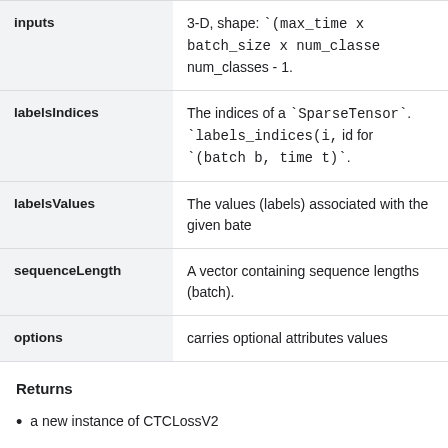| Parameter | Description |
| --- | --- |
| inputs | 3-D, shape: `(max_time x batch_size x num_classes` num_classes - 1. |
| labelsIndices | The indices of a `SparseTensor`. `labels_indices(i, id for `(batch b, time t)`. |
| labelsValues | The values (labels) associated with the given bate |
| sequenceLength | A vector containing sequence lengths (batch). |
| options | carries optional attributes values |
Returns
a new instance of CTCLossV2
public static CTCLossV2.Options ctcMergeRepeated (Boolea
Parameters